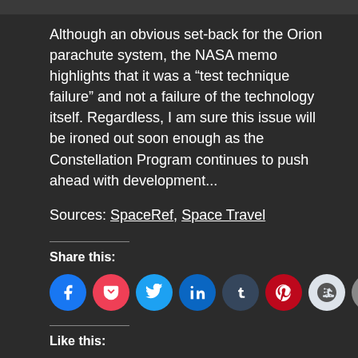Although an obvious set-back for the Orion parachute system, the NASA memo highlights that it was a “test technique failure” and not a failure of the technology itself. Regardless, I am sure this issue will be ironed out soon enough as the Constellation Program continues to push ahead with development...
Sources: SpaceRef, Space Travel
Share this:
[Figure (infographic): Social sharing icons: Facebook, Pocket, Twitter, LinkedIn, Tumblr, Pinterest, Reddit, Print, and a More button]
Like this:
Loading...